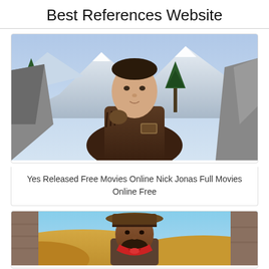Best References Website
[Figure (photo): Movie poster of a young man in a brown leather jacket with fringe, standing in a mountain wilderness scene with pine trees and snowy peaks]
Yes Released Free Movies Online Nick Jonas Full Movies Online Free
[Figure (photo): Movie poster of a man in a cowboy hat with a red bandana, set against a desert landscape with sand dunes]